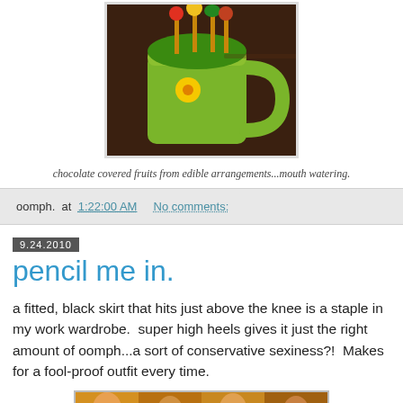[Figure (photo): Photo of a green mug with chocolate covered fruits from edible arrangements, held by a hand, with colorful fruit/chocolate pieces arranged like flowers sticking out of the top.]
chocolate covered fruits from edible arrangements...mouth watering.
oomph.  at  1:22:00 AM    No comments:
9.24.2010
pencil me in.
a fitted, black skirt that hits just above the knee is a staple in my work wardrobe.  super high heels gives it just the right amount of oomph...a sort of conservative sexiness?!  Makes for a fool-proof outfit every time.
[Figure (photo): Bottom partial photo strip showing warm-toned image, partially cut off at bottom of page.]